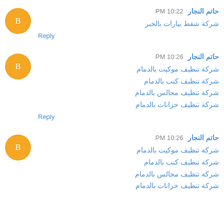حاتم النجار PM 10:22
شركة شفط بيارات بالخبر
Reply
حاتم النجار PM 10:26
شركة تنظيف موكيت بالدمام
شركة تنظيف كنب بالدمام
شركة تنظيف مجالس بالدمام
شركة تنظيف خزانات بالدمام
Reply
حاتم النجار PM 10:26
شركة تنظيف موكيت بالدمام
شركة تنظيف كنب بالدمام
شركة تنظيف مجالس بالدمام
شركة تنظيف خزانات بالدمام